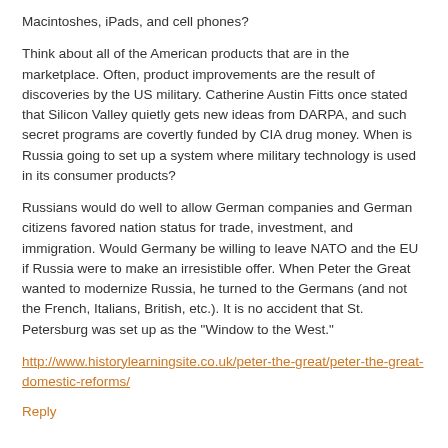Macintoshes, iPads, and cell phones?
Think about all of the American products that are in the marketplace. Often, product improvements are the result of discoveries by the US military. Catherine Austin Fitts once stated that Silicon Valley quietly gets new ideas from DARPA, and such secret programs are covertly funded by CIA drug money. When is Russia going to set up a system where military technology is used in its consumer products?
Russians would do well to allow German companies and German citizens favored nation status for trade, investment, and immigration. Would Germany be willing to leave NATO and the EU if Russia were to make an irresistible offer. When Peter the Great wanted to modernize Russia, he turned to the Germans (and not the French, Italians, British, etc.). It is no accident that St. Petersburg was set up as the "Window to the West."
http://www.historylearningsite.co.uk/peter-the-great/peter-the-great-domestic-reforms/
Reply